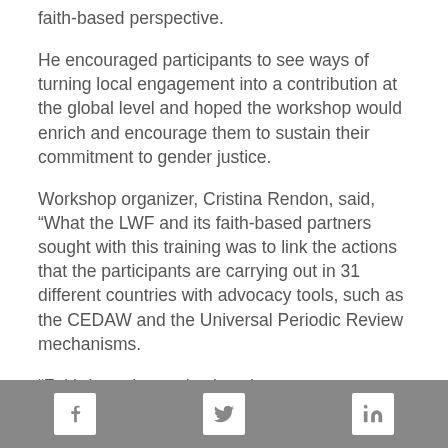faith-based perspective.
He encouraged participants to see ways of turning local engagement into a contribution at the global level and hoped the workshop would enrich and encourage them to sustain their commitment to gender justice.
Workshop organizer, Cristina Rendon, said, “What the LWF and its faith-based partners sought with this training was to link the actions that the participants are carrying out in 31 different countries with advocacy tools, such as the CEDAW and the Universal Periodic Review mechanisms.
“Faith-based organizations have enormous potential to support women in claiming their rights, but at the same time, they are key in challenging cultural norms that can be harmful to women and that perpetuate gender-based discrimination.”
[Figure (other): Social media footer bar with Facebook, Twitter, and LinkedIn icons on grey background]